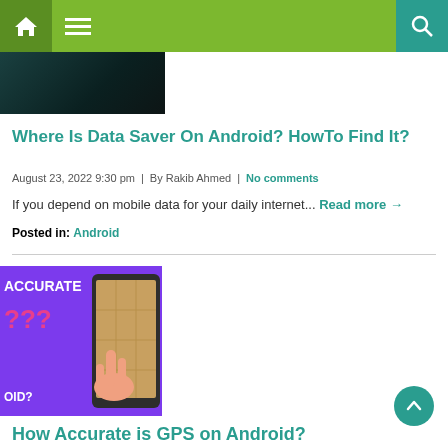Navigation bar with home, menu, and search icons
[Figure (photo): Dark-themed smartphone/tablet screenshot thumbnail]
Where Is Data Saver On Android? HowTo Find It?
August 23, 2022 9:30 pm | By Rakib Ahmed | No comments
If you depend on mobile data for your daily internet... Read more →
Posted in: Android
[Figure (photo): Purple background with question marks and a hand pointing at a tablet showing a map — How Accurate is GPS on Android article thumbnail]
How Accurate is GPS on Android?